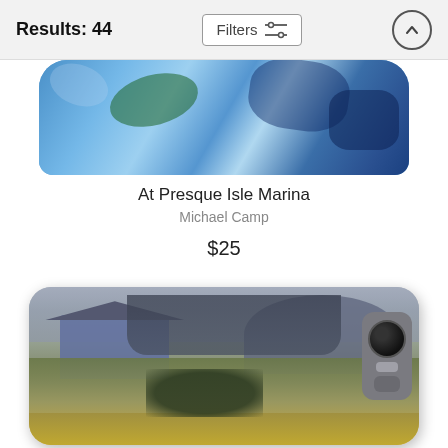Results: 44
[Figure (screenshot): Top portion of a phone case showing a blue abstract painting (At Presque Isle Marina) cropped at top]
At Presque Isle Marina
Michael Camp
$25
[Figure (photo): Phone case with a painting of a rural farm scene with barns, trees, and meadow. Shows camera bump on right side.]